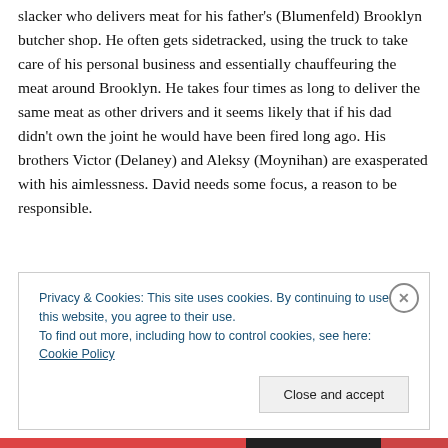slacker who delivers meat for his father's (Blumenfeld) Brooklyn butcher shop. He often gets sidetracked, using the truck to take care of his personal business and essentially chauffeuring the meat around Brooklyn. He takes four times as long to deliver the same meat as other drivers and it seems likely that if his dad didn't own the joint he would have been fired long ago. His brothers Victor (Delaney) and Aleksy (Moynihan) are exasperated with his aimlessness. David needs some focus, a reason to be responsible.
Privacy & Cookies: This site uses cookies. By continuing to use this website, you agree to their use. To find out more, including how to control cookies, see here: Cookie Policy